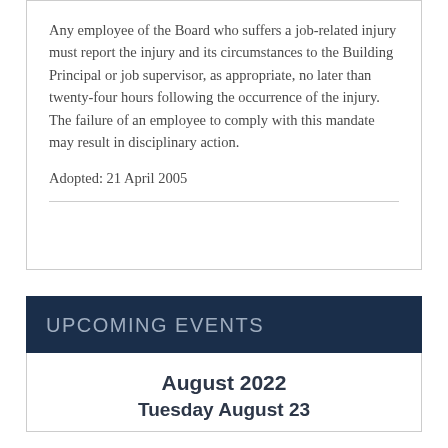Any employee of the Board who suffers a job-related injury must report the injury and its circumstances to the Building Principal or job supervisor, as appropriate, no later than twenty-four hours following the occurrence of the injury. The failure of an employee to comply with this mandate may result in disciplinary action.
Adopted: 21 April 2005
UPCOMING EVENTS
August 2022
Tuesday August 23